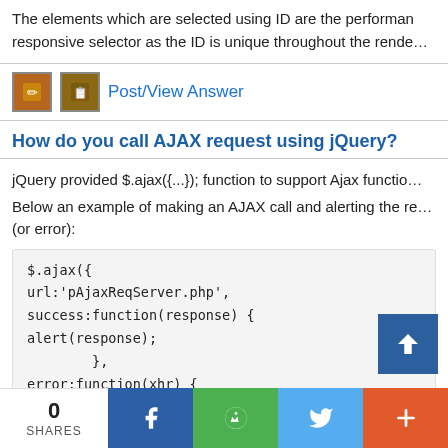The elements which are selected using ID are the performance responsive selector as the ID is unique throughout the rende…
[Figure (other): Two small icon images beside Post/View Answer link]
Post/View Answer
How do you call AJAX request using jQuery?
jQuery provided $.ajax({...}); function to support Ajax function…
Below an example of making an AJAX call and alerting the response (or error):
$.ajax({
  url:'pAjaxReqServer.php',
  success:function(response) {
  alert(response);
        },
  error:function(xhr) {
  alert('Error! Status = '+xhr.status);